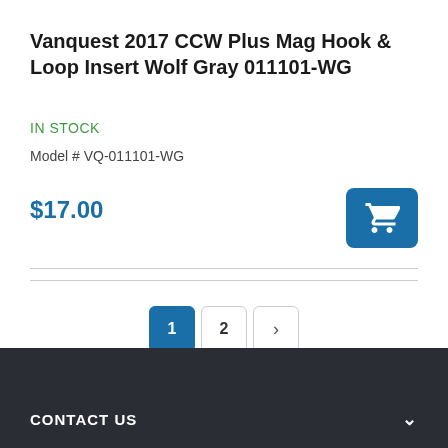Vanquest 2017 CCW Plus Mag Hook & Loop Insert Wolf Gray 011101-WG
IN STOCK
Model # VQ-011101-WG
$17.00
[Figure (other): Blue shopping cart button icon]
1 2 >
Shop By
CONTACT US